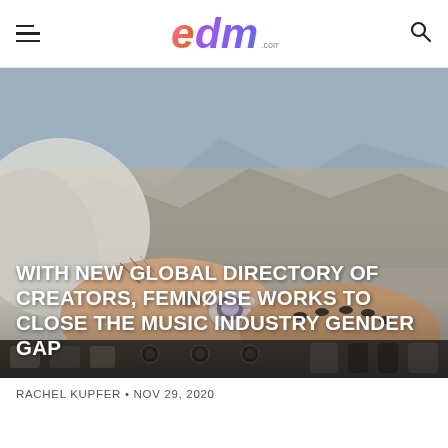EDM.com
[Figure (photo): Close-up photograph of tattooed hands with dark painted nails and a large decorative ring, resting on DJ mixer equipment with mountain scenery in the background]
WITH NEW GLOBAL DIRECTORY OF CREATORS, FEMNØISE WORKS TO CLOSE THE MUSIC INDUSTRY GENDER GAP
RACHEL KUPFER • NOV 29, 2020